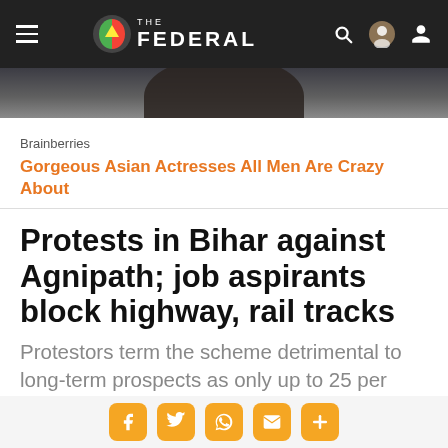The Federal
[Figure (photo): Partial photo of a person, cropped at top of page]
Brainberries
Gorgeous Asian Actresses All Men Are Crazy About
Protests in Bihar against Agnipath; job aspirants block highway, rail tracks
Protestors term the scheme detrimental to long-term prospects as only up to 25 per cent of the recruits under the scheme are likely